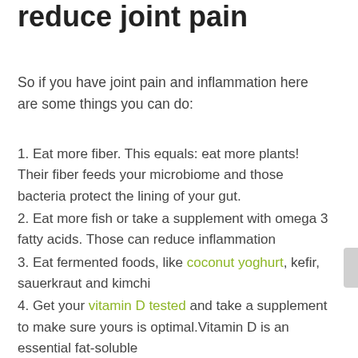reduce joint pain
So if you have joint pain and inflammation here are some things you can do:
1. Eat more fiber. This equals: eat more plants! Their fiber feeds your microbiome and those bacteria protect the lining of your gut.
2. Eat more fish or take a supplement with omega 3 fatty acids. Those can reduce inflammation
3. Eat fermented foods, like coconut yoghurt, kefir, sauerkraut and kimchi
4. Get your vitamin D tested and take a supplement to make sure yours is optimal.Vitamin D is an essential fat-soluble